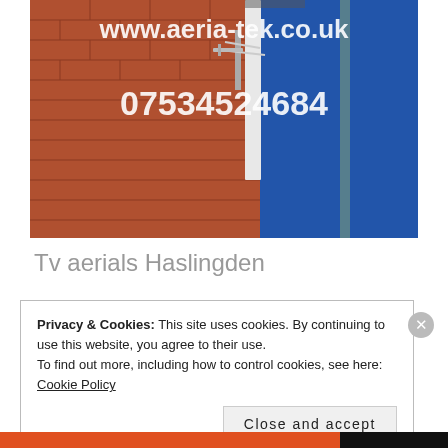[Figure (photo): Photo of a brick building wall with a TV aerial mounted near the roofline against a blue sky. White text overlay shows website URL 'www.aeria-tek.co.uk' and phone number '07534524684'.]
Tv aerials Haslingden
Privacy & Cookies: This site uses cookies. By continuing to use this website, you agree to their use.
To find out more, including how to control cookies, see here:
Cookie Policy